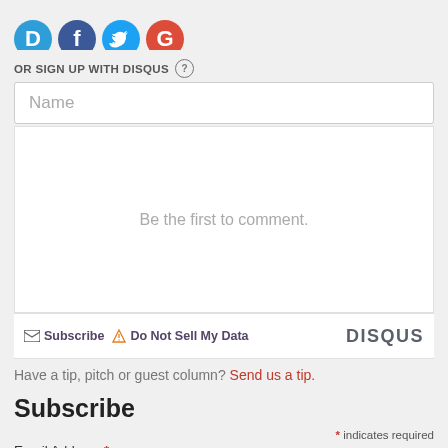[Figure (illustration): Social login icons: Disqus (blue D), Facebook (blue F), Twitter (blue bird), Google (red G) — circular icons partially cropped at top]
OR SIGN UP WITH DISQUS ?
[Figure (screenshot): Name input field with placeholder text 'Name']
Be the first to comment.
Subscribe  Do Not Sell My Data  DISQUS
Have a tip, pitch or guest column? Send us a tip.
Subscribe
* indicates required
Email Address *